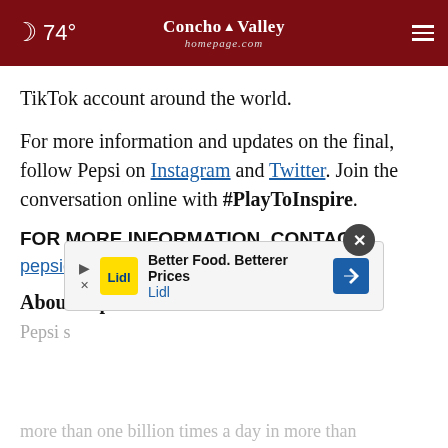74° Concho Valley homepage.com
TikTok account around the world.
For more information and updates on the final, follow Pepsi on Instagram and Twitter. Join the conversation online with #PlayToInspire.
FOR MORE INFORMATION, CONTACT:
pepsicomediarelations@pepsico.com
About PepsiCo
Pepsi... more than one billion times a day in more than
[Figure (advertisement): Lidl advertisement banner: Better Food. Betterer Prices - Lidl, with Lidl logo and navigation icon]